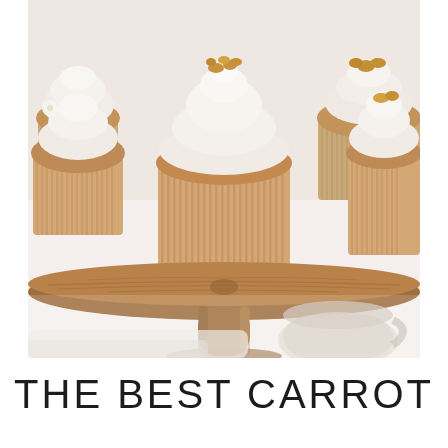[Figure (photo): A wooden cake stand holding multiple carrot cupcakes topped with white cream cheese frosting and walnuts. A small white flower and a blurred ceramic cup are visible in the foreground background.]
THE BEST CARROT